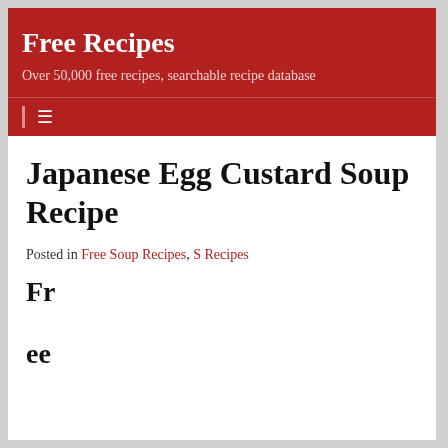Free Recipes
Over 50,000 free recipes, searchable recipe database
Japanese Egg Custard Soup Recipe
Posted in Free Soup Recipes, S Recipes
Fr

ee